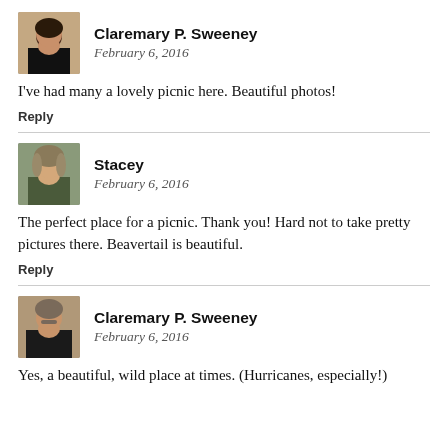[Figure (photo): Profile photo of Claremary P. Sweeney, woman with dark hair, black top]
Claremary P. Sweeney
February 6, 2016
I've had many a lovely picnic here. Beautiful photos!
Reply
[Figure (photo): Profile photo of Stacey, young woman with light brown hair, dark top]
Stacey
February 6, 2016
The perfect place for a picnic. Thank you! Hard not to take pretty pictures there. Beavertail is beautiful.
Reply
[Figure (photo): Profile photo of Claremary P. Sweeney, woman with glasses]
Claremary P. Sweeney
February 6, 2016
Yes, a beautiful, wild place at times. (Hurricanes, especially!)